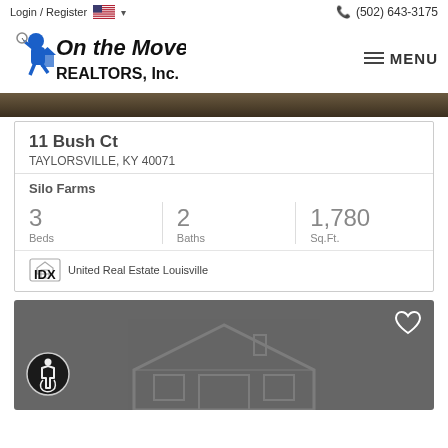Login / Register | (502) 643-3175
[Figure (logo): On the Move REALTORS, Inc. logo with running figure carrying a house]
[Figure (photo): Dark aerial/landscape hero image strip]
11 Bush Ct
TAYLORSVILLE, KY 40071
Silo Farms
| Beds | Baths | Sq.Ft. |
| --- | --- | --- |
| 3 | 2 | 1,780 |
IDX United Real Estate Louisville
[Figure (photo): Dark gray card with heart icon, accessibility icon, and faint house outline watermark]